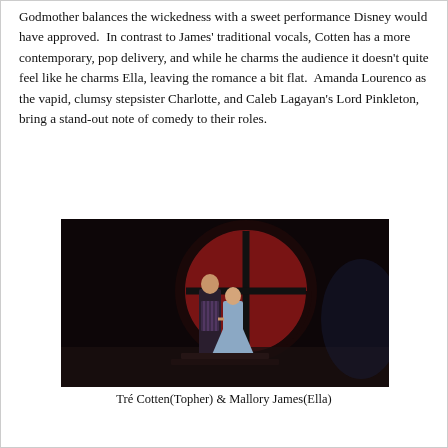Godmother balances the wickedness with a sweet performance Disney would have approved.  In contrast to James' traditional vocals, Cotten has a more contemporary, pop delivery, and while he charms the audience it doesn't quite feel like he charms Ella, leaving the romance a bit flat.  Amanda Lourenco as the vapid, clumsy stepsister Charlotte, and Caleb Lagayan's Lord Pinkleton, bring a stand-out note of comedy to their roles.
[Figure (photo): Two performers holding hands on a darkly lit stage in front of a large illuminated clock face with red backlighting. The taller performer on the left wears a patterned top and the shorter performer on the right wears a light blue dress.]
Tré Cotten(Topher) & Mallory James(Ella)